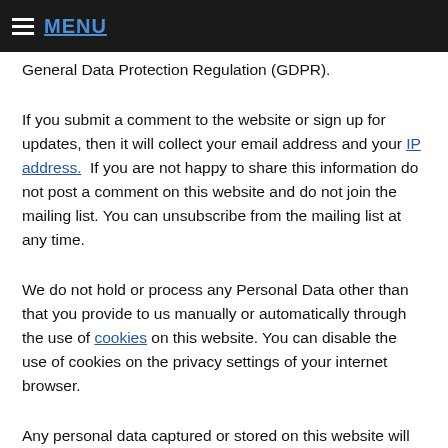MENU
General Data Protection Regulation (GDPR).
If you submit a comment to the website or sign up for updates, then it will collect your email address and your IP address. If you are not happy to share this information do not post a comment on this website and do not join the mailing list. You can unsubscribe from the mailing list at any time.
We do not hold or process any Personal Data other than that you provide to us manually or automatically through the use of cookies on this website. You can disable the use of cookies on the privacy settings of your internet browser.
Any personal data captured or stored on this website will not be shared with third parties for marketing or any other purpose.